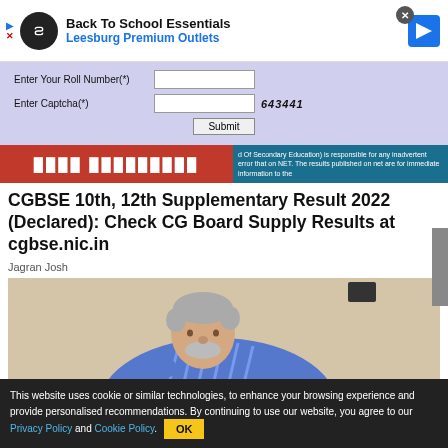[Figure (screenshot): Ad banner: Back To School Essentials, Leesburg Premium Outlets]
[Figure (screenshot): Web form with Enter Your Roll Number and Enter Captcha fields, captcha code 643441, and Submit button]
[Figure (screenshot): Red bar with Hindi text and blue disclaimer bar about Board of Secondary Education]
CGBSE 10th, 12th Supplementary Result 2022 (Declared): Check CG Board Supply Results at cgbse.nic.in
Jagran Josh
[Figure (photo): Elderly man in blue striped shirt bending forward, studying or writing]
This website uses cookie or similar technologies, to enhance your browsing experience and provide personalised recommendations. By continuing to use our website, you agree to our Privacy Policy and Cookie Policy.